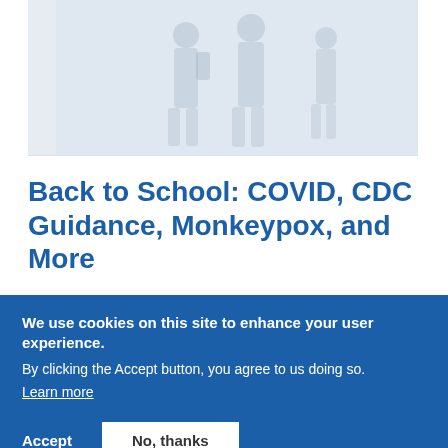[Figure (photo): Faded/washed-out photo of students or people walking, partial view of figures in an outdoor/school setting]
Back to School: COVID, CDC Guidance, Monkeypox, and More
September 02, 2022
We use cookies on this site to enhance your user experience.
By clicking the Accept button, you agree to us doing so.
Learn more
Accept
No, thanks